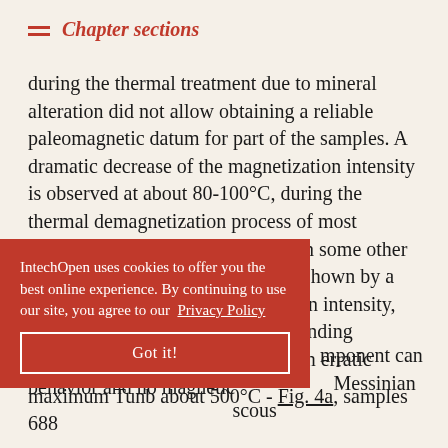Chapter sections
during the thermal treatment due to mineral alteration did not allow obtaining a reliable paleomagnetic datum for part of the samples. A dramatic decrease of the magnetization intensity is observed at about 80-100°C, during the thermal demagnetization process of most Pliocene and Messinian samples. In some other samples, mineralogical alteration, shown by a strong increase of the magnetization intensity, occurs at 200-300°C. The corresponding Zijderveld diagrams present then an erratic behavior and no magnetic component can be isolated. Some of the Pliocene and Messinian samples exhibit also a viscous remanent magnetization. The Zijderveld diagrams of these samples show a very strong magnetization component at low temperatures, followed by maximum Tunb about 500°C - Fig. 4a, samples 688
IntechOpen uses cookies to offer you the best online experience. By continuing to use our site, you agree to our Privacy Policy
Got it!
maximum Tunb about 500°C - Fig. 4a, samples 688